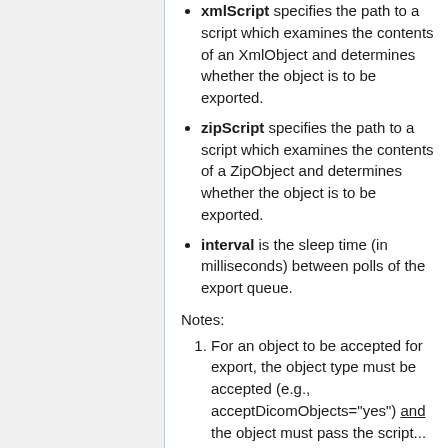xmlScript specifies the path to a script which examines the contents of an XmlObject and determines whether the object is to be exported.
zipScript specifies the path to a script which examines the contents of a ZipObject and determines whether the object is to be exported.
interval is the sleep time (in milliseconds) between polls of the export queue.
Notes:
For an object to be accepted for export, the object type must be accepted (e.g., acceptDicomObjects="yes") and the object must pass the script...